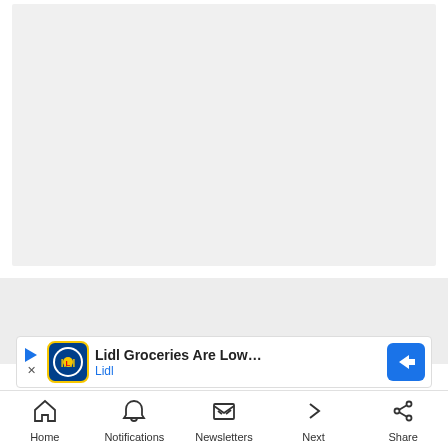[Figure (other): Large gray placeholder image area at the top of the page, representing a content image or article media]
[Figure (other): Advertisement banner for Lidl Groceries showing Lidl logo, text 'Lidl Groceries Are Low-Priced' and 'Lidl' brand name in blue, with a blue diamond arrow icon on the right]
[Figure (other): Mobile navigation bar with icons and labels: Home, Notifications, Newsletters, Next, Share]